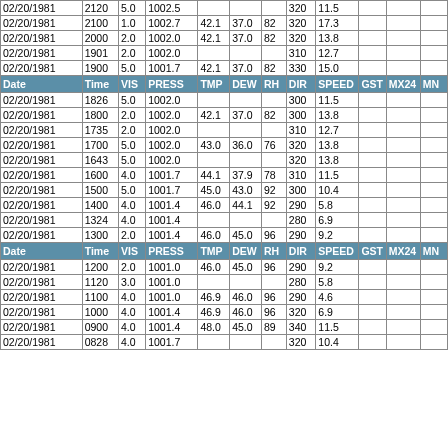| Date | Time | VIS | PRESS | TMP | DEW | RH | DIR | SPEED | GST | MX24 | MN |
| --- | --- | --- | --- | --- | --- | --- | --- | --- | --- | --- | --- |
| 02/20/1981 | 2120 | 5.0 | 1002.5 |  |  |  | 320 | 11.5 |  |  |  |
| 02/20/1981 | 2100 | 1.0 | 1002.7 | 42.1 | 37.0 | 82 | 320 | 17.3 |  |  |  |
| 02/20/1981 | 2000 | 2.0 | 1002.0 | 42.1 | 37.0 | 82 | 320 | 13.8 |  |  |  |
| 02/20/1981 | 1901 | 2.0 | 1002.0 |  |  |  | 310 | 12.7 |  |  |  |
| 02/20/1981 | 1900 | 5.0 | 1001.7 | 42.1 | 37.0 | 82 | 330 | 15.0 |  |  |  |
| HEADER |
| 02/20/1981 | 1826 | 5.0 | 1002.0 |  |  |  | 300 | 11.5 |  |  |  |
| 02/20/1981 | 1800 | 2.0 | 1002.0 | 42.1 | 37.0 | 82 | 300 | 13.8 |  |  |  |
| 02/20/1981 | 1735 | 2.0 | 1002.0 |  |  |  | 310 | 12.7 |  |  |  |
| 02/20/1981 | 1700 | 5.0 | 1002.0 | 43.0 | 36.0 | 76 | 320 | 13.8 |  |  |  |
| 02/20/1981 | 1643 | 5.0 | 1002.0 |  |  |  | 320 | 13.8 |  |  |  |
| 02/20/1981 | 1600 | 4.0 | 1001.7 | 44.1 | 37.9 | 78 | 310 | 11.5 |  |  |  |
| 02/20/1981 | 1500 | 5.0 | 1001.7 | 45.0 | 43.0 | 92 | 300 | 10.4 |  |  |  |
| 02/20/1981 | 1400 | 4.0 | 1001.4 | 46.0 | 44.1 | 92 | 290 | 5.8 |  |  |  |
| 02/20/1981 | 1324 | 4.0 | 1001.4 |  |  |  | 280 | 6.9 |  |  |  |
| 02/20/1981 | 1300 | 2.0 | 1001.4 | 46.0 | 45.0 | 96 | 290 | 9.2 |  |  |  |
| HEADER |
| 02/20/1981 | 1200 | 2.0 | 1001.0 | 46.0 | 45.0 | 96 | 290 | 9.2 |  |  |  |
| 02/20/1981 | 1120 | 3.0 | 1001.0 |  |  |  | 280 | 5.8 |  |  |  |
| 02/20/1981 | 1100 | 4.0 | 1001.0 | 46.9 | 46.0 | 96 | 290 | 4.6 |  |  |  |
| 02/20/1981 | 1000 | 4.0 | 1001.4 | 46.9 | 46.0 | 96 | 320 | 6.9 |  |  |  |
| 02/20/1981 | 0900 | 4.0 | 1001.4 | 48.0 | 45.0 | 89 | 340 | 11.5 |  |  |  |
| 02/20/1981 | 0828 | 4.0 | 1001.7 |  |  |  | 320 | 10.4 |  |  |  |